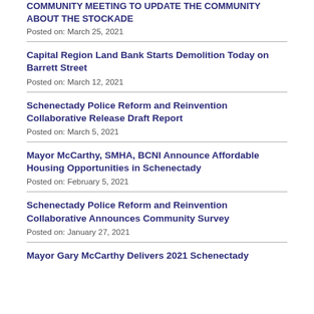COMMUNITY MEETING TO UPDATE THE COMMUNITY ABOUT THE STOCKADE
Posted on: March 25, 2021
Capital Region Land Bank Starts Demolition Today on Barrett Street
Posted on: March 12, 2021
Schenectady Police Reform and Reinvention Collaborative Release Draft Report
Posted on: March 5, 2021
Mayor McCarthy, SMHA, BCNI Announce Affordable Housing Opportunities in Schenectady
Posted on: February 5, 2021
Schenectady Police Reform and Reinvention Collaborative Announces Community Survey
Posted on: January 27, 2021
Mayor Gary McCarthy Delivers 2021 Schenectady